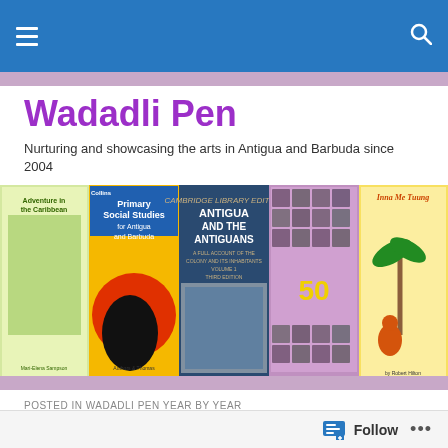Wadadli Pen — navigation bar with hamburger menu and search icon
Wadadli Pen
Nurturing and showcasing the arts in Antigua and Barbuda since 2004
[Figure (photo): A banner showing five book covers including 'Adventure in the Caribbean', 'Primary Social Studies for Antigua and Barbuda', 'Antigua and the Antiguans', a 50th anniversary anthology, and 'Inna Me Tuung']
POSTED IN WADADLI PEN YEAR BY YEAR
WADADLI PEN DONATES TO OTHER LITERACY INITIATIVES
Follow